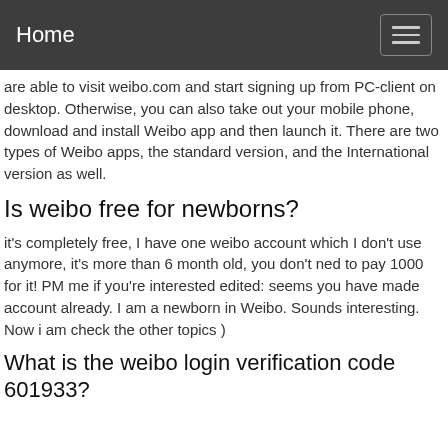Home
are able to visit weibo.com and start signing up from PC-client on desktop. Otherwise, you can also take out your mobile phone, download and install Weibo app and then launch it. There are two types of Weibo apps, the standard version, and the International version as well.
Is weibo free for newborns?
it's completely free, I have one weibo account which I don't use anymore, it's more than 6 month old, you don't ned to pay 1000 for it! PM me if you're interested edited: seems you have made account already. I am a newborn in Weibo. Sounds interesting. Now i am check the other topics )
What is the weibo login verification code 601933?